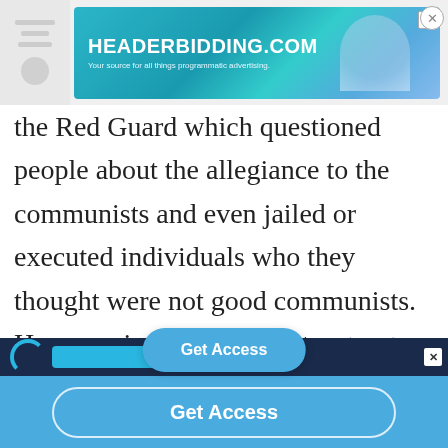[Figure (screenshot): Top advertisement banner for headerbidding.com with teal/blue gradient background, white bold text 'HEADERBIDDING.COM', subtitle 'Your source for all things programmatic advertising.']
the Red Guard which questioned people about the allegiance to the communists and even jailed or executed individuals who they thought were not good communists. However in 1968 Mao put [away the] Cultural Revolution feeling it had gone too...
[Figure (screenshot): Blue 'Get Access' button overlay in center of page]
[Figure (screenshot): Bottom dark advertisement strip with arc logo and blue button]
[Figure (screenshot): Bottom blue bar with 'Get Access' pill button]